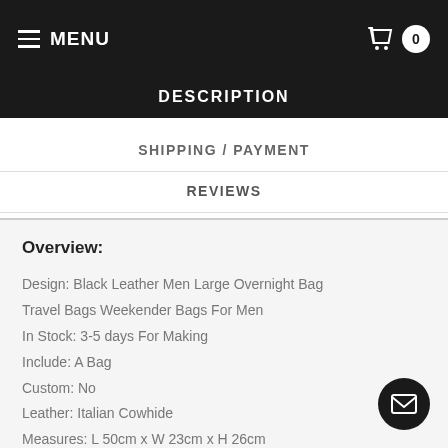MENU  0
DESCRIPTION
SHIPPING / PAYMENT
REVIEWS
Overview:
Design: Black Leather Men Large Overnight Bag Travel Bags Weekender Bags For Men
In Stock: 3-5 days For Making
Include: A Bag
Custom: No
Leather: Italian Cowhide
Measures: L 50cm x W 23cm x H 26cm